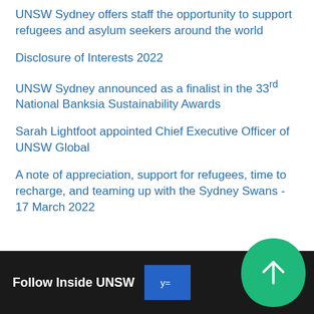UNSW Sydney offers staff the opportunity to support refugees and asylum seekers around the world
Disclosure of Interests 2022
UNSW Sydney announced as a finalist in the 33rd National Banksia Sustainability Awards
Sarah Lightfoot appointed Chief Executive Officer of UNSW Global
A note of appreciation, support for refugees, time to recharge, and teaming up with the Sydney Swans - 17 March 2022
Follow Inside UNSW